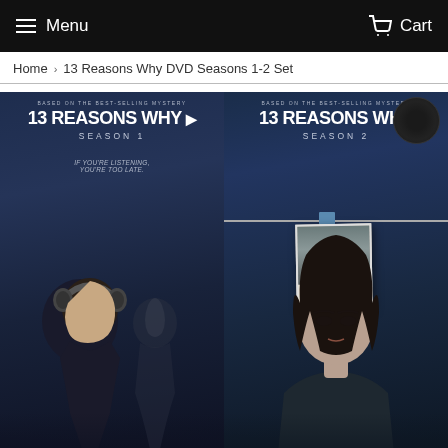Menu   Cart
Home › 13 Reasons Why DVD Seasons 1-2 Set
[Figure (photo): Side-by-side DVD cover art for 13 Reasons Why Season 1 (left, showing a young man with headphones and a girl in the background, tagline 'If you're listening, you're too late') and Season 2 (right, showing a young woman with a polaroid photo clipped to a wire, tagline 'The tapes were just the beginning'). Both covers say 'Based on the best-selling mystery' at the top.]